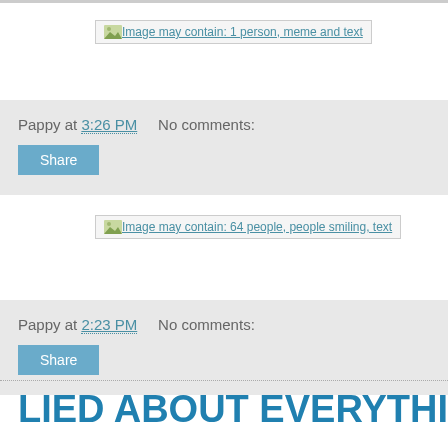[Figure (other): Broken image placeholder: Image may contain: 1 person, meme and text]
Pappy at 3:26 PM    No comments:
Share
[Figure (other): Broken image placeholder: Image may contain: 64 people, people smiling, text]
Pappy at 2:23 PM    No comments:
Share
LIED ABOUT EVERYTHING ! !